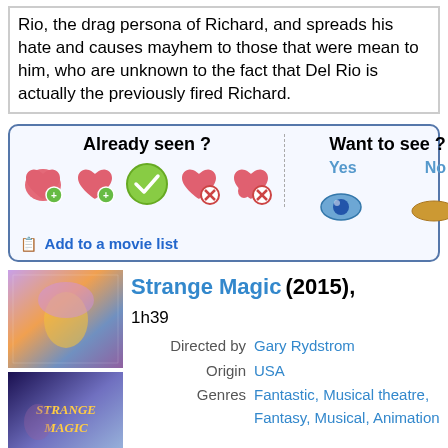Rio, the drag persona of Richard, and spreads his hate and causes mayhem to those that were mean to him, who are unknown to the fact that Del Rio is actually the previously fired Richard.
[Figure (other): Movie rating widget with 'Already seen?' heart icons and 'Want to see?' yes/no eye icons, plus 'Add to a movie list' link]
[Figure (photo): Three stacked movie poster images for Strange Magic (2015)]
Strange Magic (2015), 1h39
Directed by Gary Rydstrom
Origin USA
Genres Fantastic, Musical theatre, Fantasy, Musical, Animation
Themes Films about magic and magicians, Films about music and musicians, Théâtre, Musical films, Films based on plays, Children's films